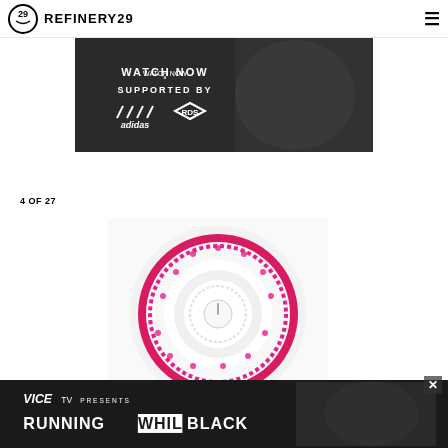REFINERY29
[Figure (screenshot): Advertisement banner showing 'WATCH NOW' 'SUPPORTED BY' with adidas and RDS logos on dark sports background]
4 OF 27
[Figure (photo): Clarisonic or similar facial cleansing brush head, pink color, circular with bristles, viewed from top]
[Figure (screenshot): Vice TV advertisement banner: 'VICE TV PRESENTS RUNNING WHILE BLACK' with photo of athlete on dark background]